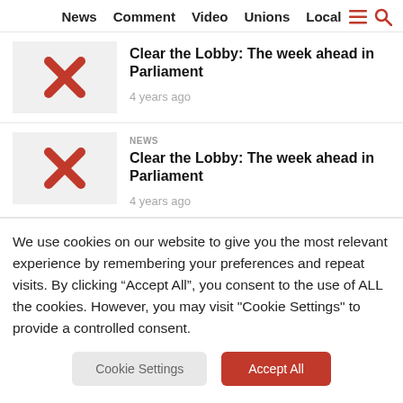News  Comment  Video  Unions  Local
[Figure (other): Article thumbnail with red X icon]
Clear the Lobby: The week ahead in Parliament
4 years ago
NEWS
[Figure (other): Article thumbnail with red X icon]
Clear the Lobby: The week ahead in Parliament
4 years ago
We use cookies on our website to give you the most relevant experience by remembering your preferences and repeat visits. By clicking “Accept All”, you consent to the use of ALL the cookies. However, you may visit "Cookie Settings" to provide a controlled consent.